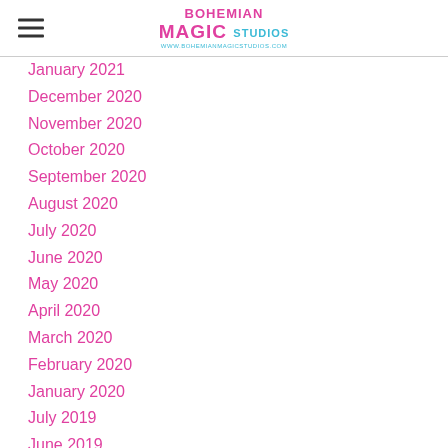Bohemian Magic Studios — www.bohemianmagicstudios.com
January 2021
December 2020
November 2020
October 2020
September 2020
August 2020
July 2020
June 2020
May 2020
April 2020
March 2020
February 2020
January 2020
July 2019
June 2019
May 2019
April 2019
March 2019